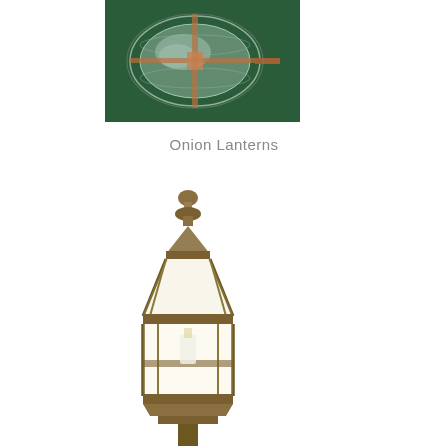[Figure (photo): Close-up photograph of an onion lantern with a clear oval glass globe and copper/brass fittings, mounted against a dark green background.]
Onion Lanterns
[Figure (photo): Photograph of a traditional brass/bronze post lantern with a hexagonal tapered frame, clear glass panels, decorative finial on top, and a visible bulb inside.]